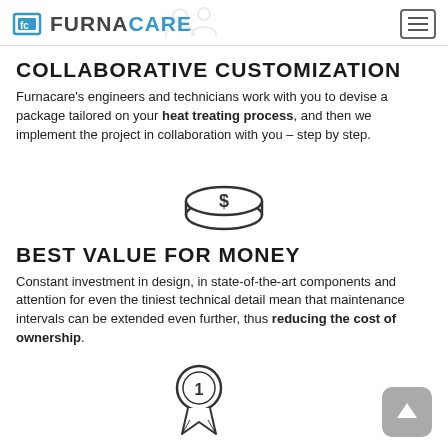FurnaCare
COLLABORATIVE CUSTOMIZATION
Furnacare's engineers and technicians work with you to devise a package tailored on your heat treating process, and then we implement the project in collaboration with you – step by step.
[Figure (illustration): Icon of stacked coins with a dollar sign]
BEST VALUE FOR MONEY
Constant investment in design, in state-of-the-art components and attention for even the tiniest technical detail mean that maintenance intervals can be extended even further, thus reducing the cost of ownership.
[Figure (illustration): Icon of a first-place ribbon/badge with number 1]
[Figure (illustration): Back to top button with upward arrow]